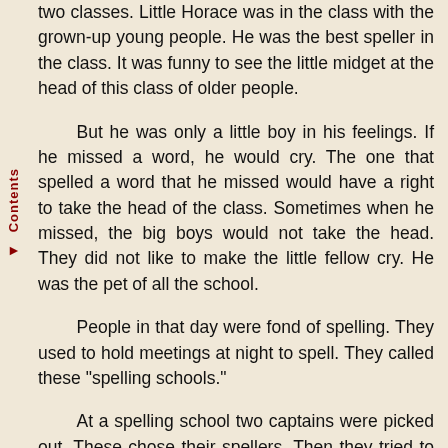two classes. Little Horace was in the class with the grown-up young people. He was the best speller in the class. It was funny to see the little midget at the head of this class of older people.
But he was only a little boy in his feelings. If he missed a word, he would cry. The one that spelled a word that he missed would have a right to take the head of the class. Sometimes when he missed, the big boys would not take the head. They did not like to make the little fellow cry. He was the pet of all the school.
People in that day were fond of spelling. They used to hold meetings at night to spell. They called these "spelling schools."
At a spelling school two captains were picked out. These chose their spellers. Then they tried to see which side could beat the other at spelling.
Little Horace was always chosen first. The side